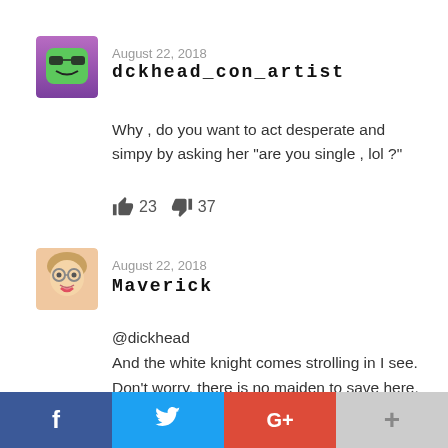August 22, 2018
dckhead_con_artist
Why , do you want to act desperate and simpy by asking her “are you single , lol ?"
👍 23  👎 37
August 22, 2018
Maverick
@dickhead
And the white knight comes strolling in I see.
Don't worry, there is no maiden to save here.
[Figure (other): Social share buttons bar: Facebook (blue), Twitter (light blue), Google+ (red), Plus/share (gray)]